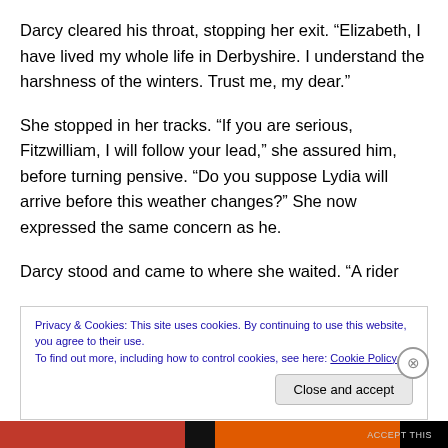Darcy cleared his throat, stopping her exit. “Elizabeth, I have lived my whole life in Derbyshire. I understand the harshness of the winters. Trust me, my dear.”
She stopped in her tracks. “If you are serious, Fitzwilliam, I will follow your lead,” she assured him, before turning pensive. “Do you suppose Lydia will arrive before this weather changes?” She now expressed the same concern as he.
Darcy stood and came to where she waited. “A rider …
Privacy & Cookies: This site uses cookies. By continuing to use this website, you agree to their use.
To find out more, including how to control cookies, see here: Cookie Policy